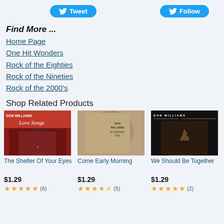[Figure (other): Twitter Tweet button (blue pill-shaped button with bird icon)]
[Figure (other): Twitter Follow button (blue pill-shaped button with bird icon)]
Find More ...
Home Page
One Hit Wonders
Rock of the Eighties
Rock of the Nineties
Rock of the 2000's
Shop Related Products
[Figure (photo): Album cover: Don Williams Love Songs - man with cowboy hat on red background]
The Shelter Of Your Eyes
$1.29
(6)
[Figure (photo): Album cover: Don Williams 20 Greatest Hits - sepia toned man with cowboy hat]
Come Early Morning
$1.29
(5)
[Figure (photo): Album cover: Don Williams - illustrated portrait of man in cowboy hat on black background]
We Should Be Together
$1.29
(2)